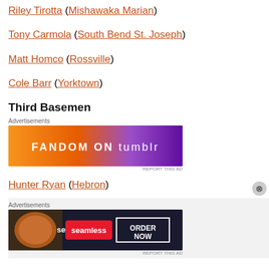Riley Tirotta (Mishawaka Marian)
Tony Carmola (South Bend St. Joseph)
Matt Homco (Rossville)
Cole Barr (Yorktown)
Third Basemen
[Figure (other): Fandom on Tumblr advertisement banner]
Hunter Ryan (Hebron)
[Figure (other): Seamless Order Now advertisement banner]